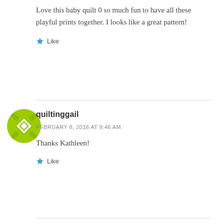Love this baby quilt 0 so much fun to have all these playful prints together. I looks like a great pattern!
Like
quiltinggail
FEBRUARY 8, 2018 AT 9:46 AM
Thanks Kathleen!
Like